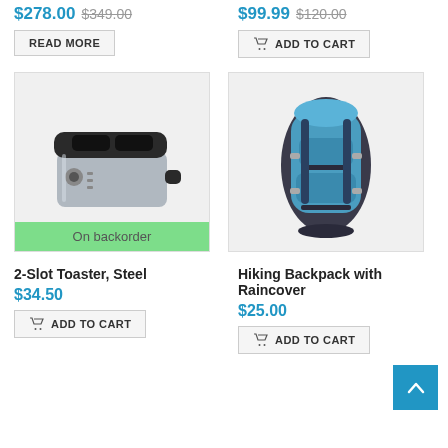$278.00  $349.00
READ MORE
$99.99  $120.00
ADD TO CART
[Figure (photo): 2-Slot stainless steel toaster with black top and dial, with On backorder badge]
[Figure (photo): Hiking backpack with blue fabric and black frame, with multiple straps and buckles]
2-Slot Toaster, Steel
$34.50
ADD TO CART
Hiking Backpack with Raincover
$25.00
ADD TO CART